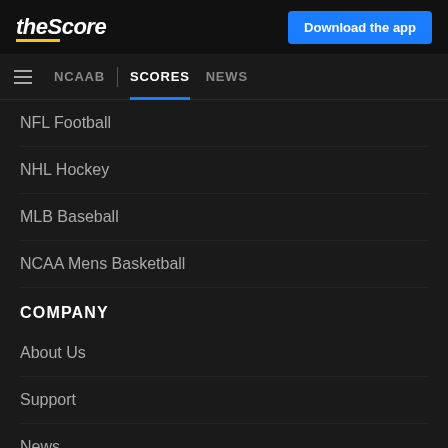theScore | Download the app
NCAAB | SCORES NEWS
NFL Football
NHL Hockey
MLB Baseball
NCAA Mens Basketball
COMPANY
About Us
Support
News
Careers
FOLLOW US